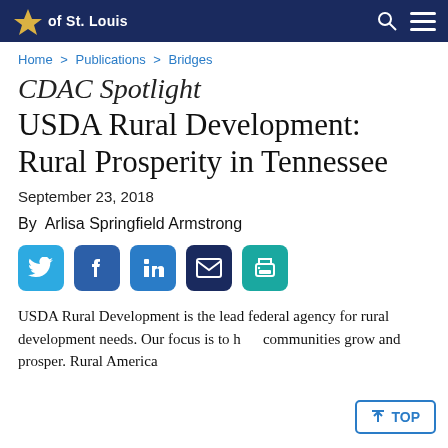of St. Louis
Home > Publications > Bridges
CDAC Spotlight USDA Rural Development: Rural Prosperity in Tennessee
September 23, 2018
By  Arlisa Springfield Armstrong
[Figure (infographic): Social media sharing icons: Twitter, Facebook, LinkedIn, Email, Print]
USDA Rural Development is the lead federal agency for rural development needs. Our focus is to help communities grow and prosper. Rural America